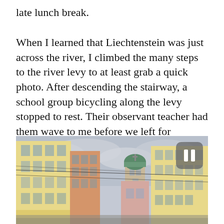late lunch break.
When I learned that Liechtenstein was just across the river, I climbed the many steps to the river levy to at least grab a quick photo. After descending the stairway, a school group bicycling along the levy stopped to rest. Their observant teacher had them wave to me before we left for Innsbruck.
[Figure (photo): Street-level photograph looking up at European-style multi-storey buildings with yellow and cream facades. A church tower with a green dome is visible in the background center. Wires cross the cloudy grey sky. A pause button overlay appears in the top-right corner of the image.]